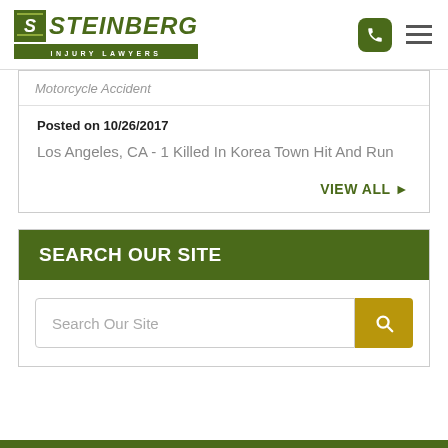[Figure (logo): Steinberg Injury Lawyers logo with green S icon and phone/menu icons]
Motorcycle Accident
Posted on 10/26/2017
Los Angeles, CA - 1 Killed In Korea Town Hit And Run
VIEW ALL
SEARCH OUR SITE
Search Our Site